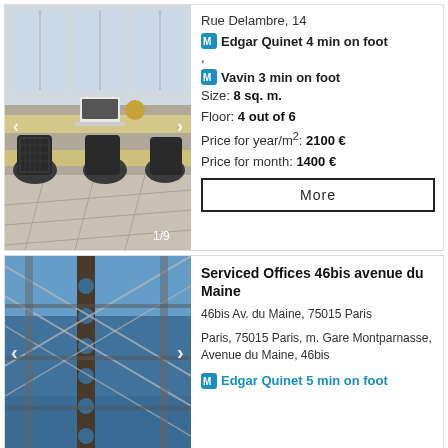[Figure (photo): Interior of a coworking office space with rows of wooden desks, office chairs, laptop, and large windows. Image counter shows 1/9.]
Rue Delambre, 14
M Edgar Quinet 4 min on foot
,
M Vavin 3 min on foot
Size: 8 sq. m.
Floor: 4 out of 6
Price for year/m²: 2100 €
Price for month: 1400 €
More
[Figure (photo): Modern glass building interior or facade with steel structural elements and circular perforations, blue-toned photograph.]
Serviced Offices 46bis avenue du Maine
46bis Av. du Maine, 75015 Paris
Paris, 75015 Paris, m. Gare Montparnasse, Avenue du Maine, 46bis
M Edgar Quinet 5 min on foot